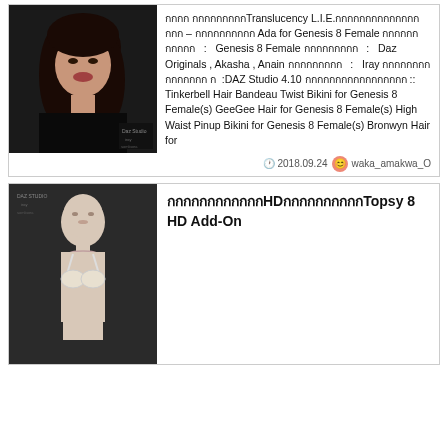[Figure (photo): 3D rendered female character with dark hair, wearing black outfit, close-up portrait]
กกกก กกกกกกกกกTranslucency L.I.E.กกกกกกกกกกกกกกกกก – กกกกกกกกกก Ada for Genesis 8 Female กกกกกก กกกกก : Genesis 8 Female กกกกกกกกก : Daz Originals , Akasha , Anain กกกกกกกกก : Iray กกกกกกกกกกกกกกก ก :DAZ Studio 4.10 กกกกกกกกกกกกกกกกก :: Tinkerbell Hair Bandeau Twist Bikini for Genesis 8 Female(s) GeeGee Hair for Genesis 8 Female(s) High Waist Pinup Bikini for Genesis 8 Female(s) Bronwyn Hair for
2018.09.24  waka_amakwa_O
[Figure (photo): 3D rendered female character, bald, wearing white bikini top, front view, gray background]
กกกกกกกกกกกกHDกกกกกกกกกกTopsy 8 HD Add-On